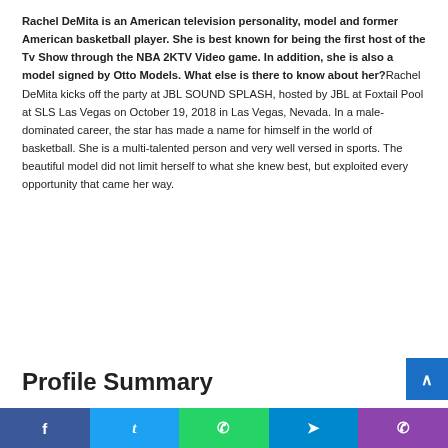Rachel DeMita is an American television personality, model and former American basketball player. She is best known for being the first host of the Tv Show through the NBA 2KTV Video game. In addition, she is also a model signed by Otto Models. What else is there to know about her?Rachel DeMita kicks off the party at JBL SOUND SPLASH, hosted by JBL at Foxtail Pool at SLS Las Vegas on October 19, 2018 in Las Vegas, Nevada. In a male-dominated career, the star has made a name for himself in the world of basketball. She is a multi-talented person and very well versed in sports. The beautiful model did not limit herself to what she knew best, but exploited every opportunity that came her way.
Profile Summary